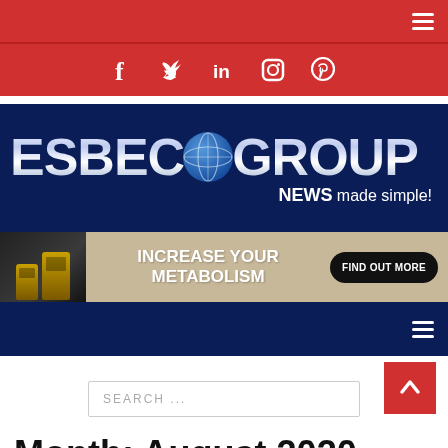Navigation bar with hamburger menu
[Figure (infographic): Social media icons bar: Facebook, Twitter, LinkedIn, Instagram, Pinterest on red background]
[Figure (logo): ESBECGROUP logo on dark navy background with tagline NEWS made simple!]
[Figure (infographic): Advertisement banner: INCREASE YOUR METABOLISM - FIND OUT MORE button with product cans]
Dark navy navigation bar with hamburger menu
SEARCH ...
Month: August 2020